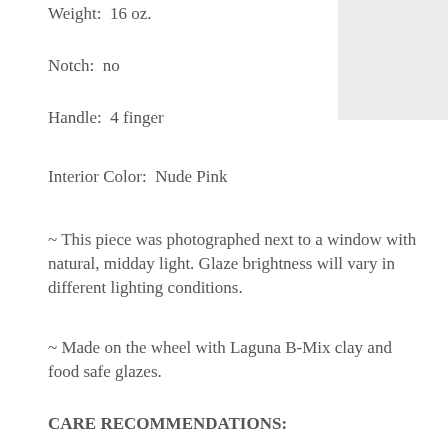Weight:  16 oz.
Notch:  no
Handle:  4 finger
Interior Color:  Nude Pink
[Figure (photo): Partial image of ceramic mug, cut off on right side, shown against light background]
~ This piece was photographed next to a window with natural, midday light. Glaze brightness will vary in different lighting conditions.
~ Made on the wheel with Laguna B-Mix clay and food safe glazes.
CARE RECOMMENDATIONS: